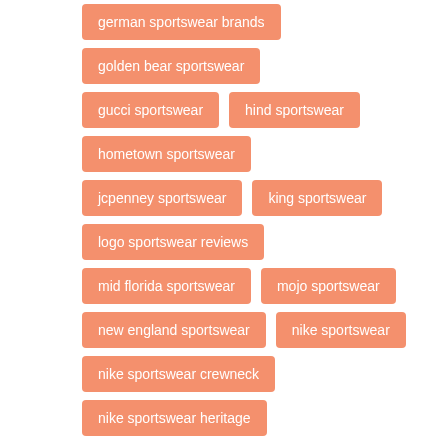german sportswear brands
golden bear sportswear
gucci sportswear
hind sportswear
hometown sportswear
jcpenney sportswear
king sportswear
logo sportswear reviews
mid florida sportswear
mojo sportswear
new england sportswear
nike sportswear
nike sportswear crewneck
nike sportswear heritage